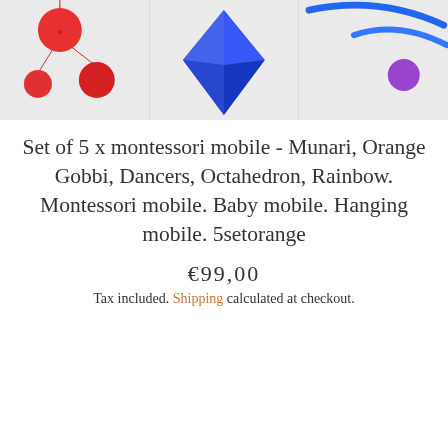[Figure (photo): Three product photos side by side: left shows red spheres hanging mobile on light background, center shows a blue octahedron shape on light background, right shows blue curved wire and purple sphere on light background.]
Set of 5 x montessori mobile - Munari, Orange Gobbi, Dancers, Octahedron, Rainbow. Montessori mobile. Baby mobile. Hanging mobile. 5setorange
€99,00
Tax included. Shipping calculated at checkout.